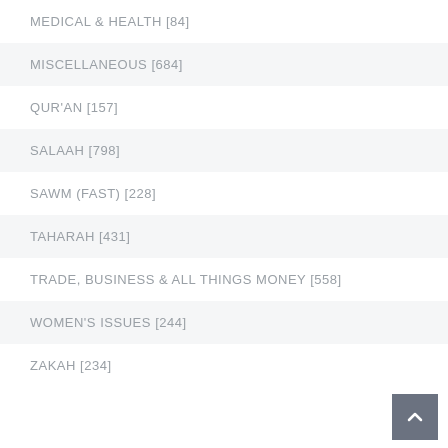MEDICAL & HEALTH [84]
MISCELLANEOUS [684]
QUR'AN [157]
SALAAH [798]
SAWM (FAST) [228]
TAHARAH [431]
TRADE, BUSINESS & ALL THINGS MONEY [558]
WOMEN'S ISSUES [244]
ZAKAH [234]